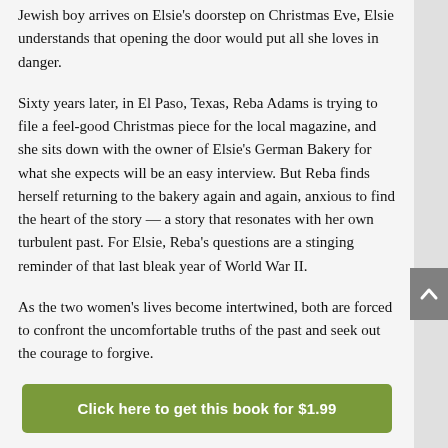Jewish boy arrives on Elsie's doorstep on Christmas Eve, Elsie understands that opening the door would put all she loves in danger.
Sixty years later, in El Paso, Texas, Reba Adams is trying to file a feel-good Christmas piece for the local magazine, and she sits down with the owner of Elsie's German Bakery for what she expects will be an easy interview. But Reba finds herself returning to the bakery again and again, anxious to find the heart of the story — a story that resonates with her own turbulent past. For Elsie, Reba's questions are a stinging reminder of that last bleak year of World War II.
As the two women's lives become intertwined, both are forced to confront the uncomfortable truths of the past and seek out the courage to forgive.
Click here to get this book for $1.99